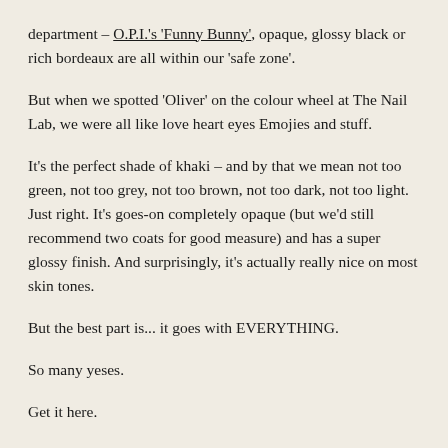department – O.P.I.'s 'Funny Bunny', opaque, glossy black or rich bordeaux are all within our 'safe zone'.
But when we spotted 'Oliver' on the colour wheel at The Nail Lab, we were all like love heart eyes Emojies and stuff.
It's the perfect shade of khaki – and by that we mean not too green, not too grey, not too brown, not too dark, not too light. Just right. It's goes-on completely opaque (but we'd still recommend two coats for good measure) and has a super glossy finish. And surprisingly, it's actually really nice on most skin tones.
But the best part is... it goes with EVERYTHING.
So many yeses.
Get it here.